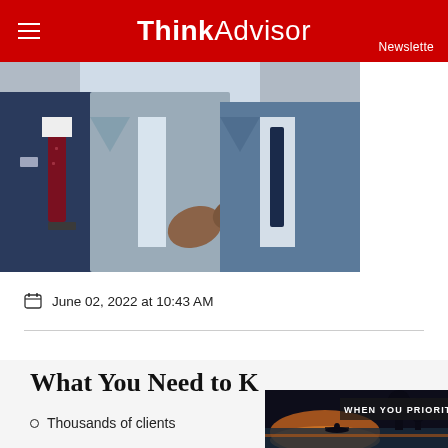ThinkAdvisor Newsletter
[Figure (photo): Business professionals in suits shaking hands, partial torso view showing suits and ties in blue, gray, and navy]
June 02, 2022 at 10:43 AM
What You Need to K...
Thousands of clients
[Figure (photo): Advertisement overlay showing a person kayaking on water at sunset with text WHEN YOU PRIORITI...]